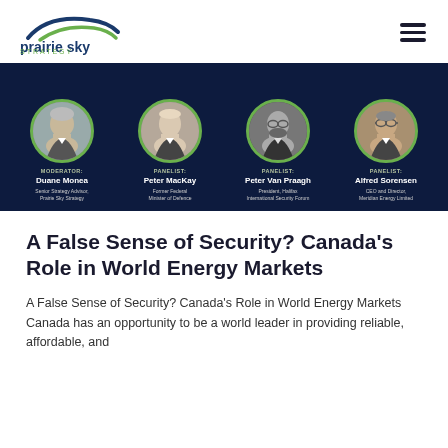[Figure (logo): Prairie Sky Strategy logo — stylized bird/sky arc in dark blue and green above the text 'prairie sky' with 'STRATEGY' subtitle]
[Figure (infographic): Panel banner on dark navy background showing four circular headshot photos with green borders. Moderator: Duane Monea, Senior Strategy Advisor, Prairie Sky Strategy. Panelist: Peter MacKay, Former Federal Minister of Defence. Panelist: Peter Van Praagh, President, Halifax International Security Forum. Panelist: Alfred Sorensen, CEO and Director, Meridian Energy Limited.]
A False Sense of Security? Canada's Role in World Energy Markets
A False Sense of Security? Canada's Role in World Energy Markets  Canada has an opportunity to be a world leader in providing reliable, affordable, and